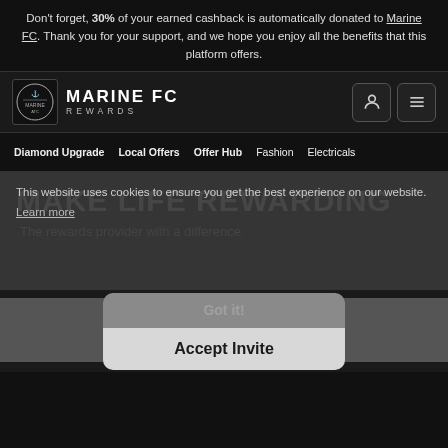Don't forget, 30% of your earned cashback is automatically donated to Marine FC. Thank you for your support, and we hope you enjoy all the benefits that this platform offers.
[Figure (logo): Marine FC Rewards logo with crest icon and text 'MARINE FC REWARDS']
Diamond Upgrade  Local Offers  Offer Hub  Fashion  Electricals
MAKE LIFE REWARDING
The rewards provider with a difference.
This website uses cookies to ensure you get the best experience on our website.
Learn more
Got it!
Accept Invite